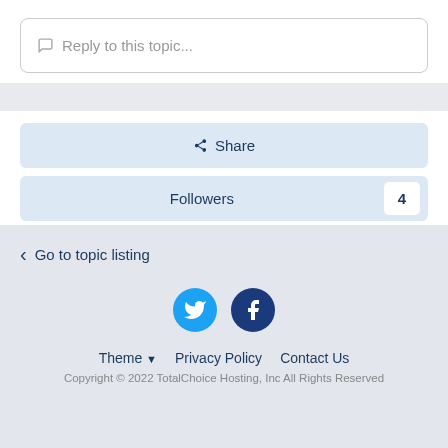Reply to this topic...
Share
Followers  4
Go to topic listing
[Figure (illustration): Twitter and Facebook social media icons]
Theme  Privacy Policy  Contact Us
Copyright © 2022 TotalChoice Hosting, Inc All Rights Reserved